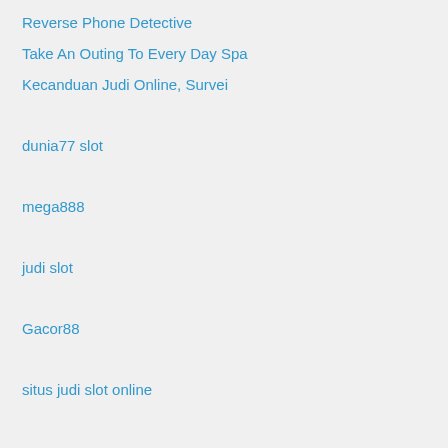Reverse Phone Detective
Take An Outing To Every Day Spa
Kecanduan Judi Online, Survei
dunia77 slot
mega888
judi slot
Gacor88
situs judi slot online